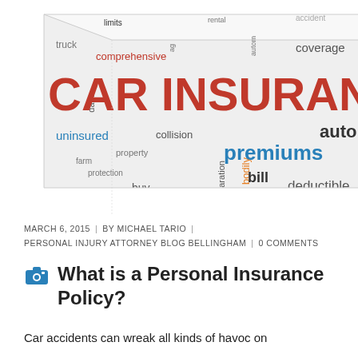[Figure (illustration): A 3D cube word cloud with insurance-related terms. The front face prominently shows 'CAR INSURANCE' in large red letters with terms like 'uninsured', 'collision', 'auto', 'premiums', 'bodily', 'deductible', 'claims', 'drivers', 'policy', 'renew', 'effective date', 'declaration', 'buy', 'bill', 'property', 'farm', 'protection', 'truck', 'limits', 'comprehensive', 'coverage', 'rental', 'accident', 'auto', 'terrorism'. The right side face shows a mirrored/similar word cloud. The cube is light gray/white.]
MARCH 6, 2015  |  BY MICHAEL TARIO  |  PERSONAL INJURY ATTORNEY BLOG BELLINGHAM  |  0 COMMENTS
What is a Personal Insurance Policy?
Car accidents can wreak all kinds of havoc on